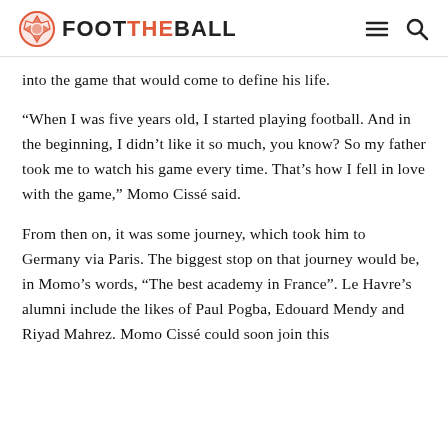FOOT THE BALL
into the game that would come to define his life.
“When I was five years old, I started playing football. And in the beginning, I didn’t like it so much, you know? So my father took me to watch his game every time. That’s how I fell in love with the game,” Momo Cissé said.
From then on, it was some journey, which took him to Germany via Paris. The biggest stop on that journey would be, in Momo’s words, “The best academy in France”. Le Havre’s alumni include the likes of Paul Pogba, Edouard Mendy and Riyad Mahrez. Momo Cissé could soon join this